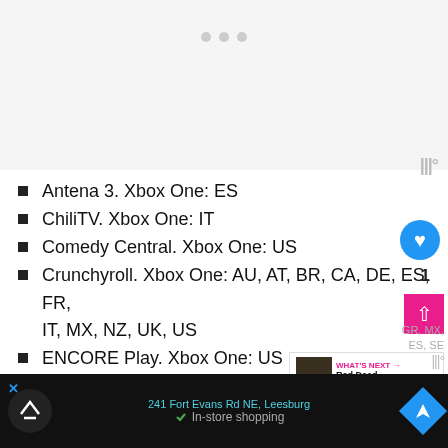[Figure (screenshot): Top gray content area with three dot navigation indicators and watermark logo in bottom right corner]
Antena 3. Xbox One: ES
ChiliTV. Xbox One: IT
Comedy Central. Xbox One: US
Crunchyroll. Xbox One: AU, AT, BR, CA, DE, ES, FR, IT, MX, NZ, UK, US
ENCORE Play. Xbox One: US
EPIX. Xbox One: US
Filmbox Live. Xbox 360: AR, AU, AT, BE, BR, CA, CL, CO,
[Figure (screenshot): Bottom advertisement bar with store logo, address text '241 Fort Evans Rd NE, Leesburg', In-store shopping text, navigation icon, and partial country codes GR, MX, ES, SE]